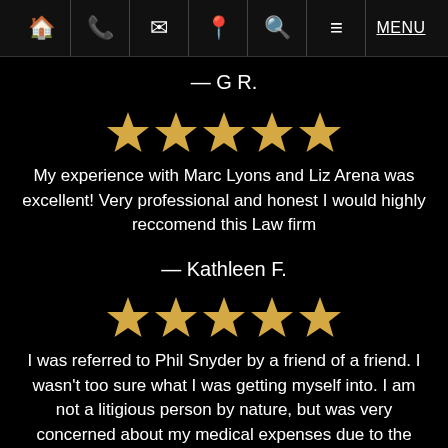🏠 📞 ✉ 📍 🔍 ≡ MENU
— G R.
[Figure (other): Five gold stars rating]
My experience with Marc Lyons and Liz Arena was excellent! Very professional and honest I would highly reccomend this Law firm
— Kathleen F.
[Figure (other): Five gold stars rating]
I was referred to Phil Snyder by a friend of a friend. I wasn't too sure what I was getting myself into. I am not a litigious person by nature, but was very concerned about my medical expenses due to the nature of the car accident I was involved in...brand new car, rear-ended on